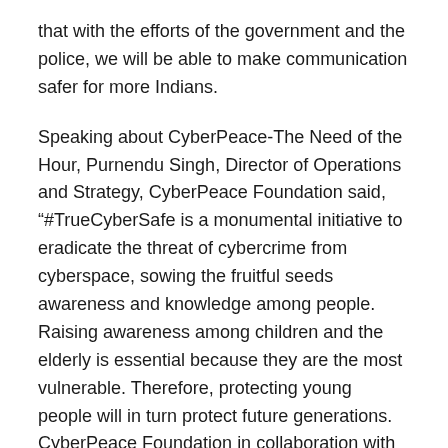that with the efforts of the government and the police, we will be able to make communication safer for more Indians.
Speaking about CyberPeace-The Need of the Hour, Purnendu Singh, Director of Operations and Strategy, CyberPeace Foundation said, “#TrueCyberSafe is a monumental initiative to eradicate the threat of cybercrime from cyberspace, sowing the fruitful seeds awareness and knowledge among people. Raising awareness among children and the elderly is essential because they are the most vulnerable. Therefore, protecting young people will in turn protect future generations. CyberPeace Foundation in collaboration with various companies and government agencies has launched various projects to enhance online safety, some of these projects are- E-Raksha, E-Shakti, E-Saksham, Safety Track and various hackathons, so today today with the #TrueCyberSafe Campaign, we are more effectively consolidating our approach to the war on cybercrime. Stay CyberSafe!! Stay Cyber Secure!! »